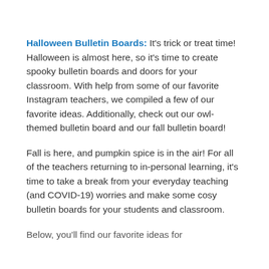Halloween Bulletin Boards: It's trick or treat time! Halloween is almost here, so it's time to create spooky bulletin boards and doors for your classroom. With help from some of our favorite Instagram teachers, we compiled a few of our favorite ideas. Additionally, check out our owl-themed bulletin board and our fall bulletin board!
Fall is here, and pumpkin spice is in the air! For all of the teachers returning to in-personal learning, it's time to take a break from your everyday teaching (and COVID-19) worries and make some cosy bulletin boards for your students and classroom.
Below, you'll find our favorite ideas for